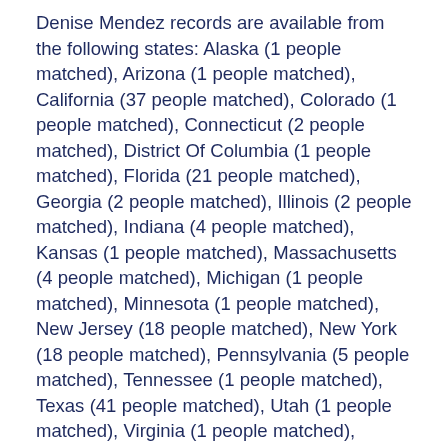Denise Mendez records are available from the following states: Alaska (1 people matched), Arizona (1 people matched), California (37 people matched), Colorado (1 people matched), Connecticut (2 people matched), District Of Columbia (1 people matched), Florida (21 people matched), Georgia (2 people matched), Illinois (2 people matched), Indiana (4 people matched), Kansas (1 people matched), Massachusetts (4 people matched), Michigan (1 people matched), Minnesota (1 people matched), New Jersey (18 people matched), New York (18 people matched), Pennsylvania (5 people matched), Tennessee (1 people matched), Texas (41 people matched), Utah (1 people matched), Virginia (1 people matched), Washington (1 people matched), Wisconsin (1 people matched). It is possible that there are other Denise Mendez who are residing in other states and are not listed on this page. Records on this page are as accurate as our last update